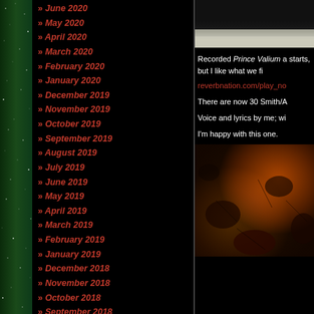[Figure (illustration): Decorative green starfield strip on left side]
» June 2020
» May 2020
» April 2020
» March 2020
» February 2020
» January 2020
» December 2019
» November 2019
» October 2019
» September 2019
» August 2019
» July 2019
» June 2019
» May 2019
» April 2019
» March 2019
» February 2019
» January 2019
» December 2018
» November 2018
» October 2018
» September 2018
» August 2018
» July 2018
[Figure (photo): Top image - dark gradient fading to light textured surface]
Recorded Prince Valium a starts, but I like what we fi
reverbnation.com/play_no
There are now 30 Smith/A
Voice and lyrics by me; wi
I'm happy with this one.
[Figure (photo): Bottom image - warm orange and brown tones, cracked earth or wood texture with dark shadows]